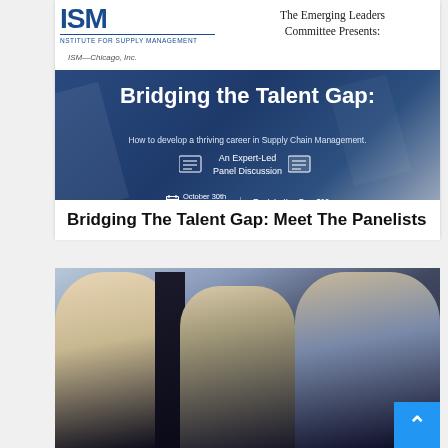[Figure (infographic): ISM Chicago event flyer for 'Bridging the Talent Gap: How to develop a thriving career in Supply Chain Management.' The Emerging Leaders Committee Presents. An Expert-Led Panel Discussion. October 30th 2-4 PM. Registration Fee: $10.]
Bridging The Talent Gap: Meet The Panelists
[Figure (photo): Photo of three people in a professional discussion setting - two women and one person with backs to camera, appearing to be in a panel or meeting discussion.]